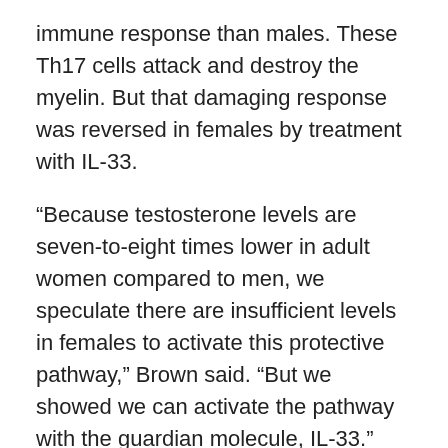immune response than males. These Th17 cells attack and destroy the myelin. But that damaging response was reversed in females by treatment with IL-33.
“Because testosterone levels are seven-to-eight times lower in adult women compared to men, we speculate there are insufficient levels in females to activate this protective pathway,” Brown said. “But we showed we can activate the pathway with the guardian molecule, IL-33.”
In addition to a higher incidence of MS in women, there are also sex-determined differences in the average age of onset and subtype of the disease. Women generally develop MS at a younger age and